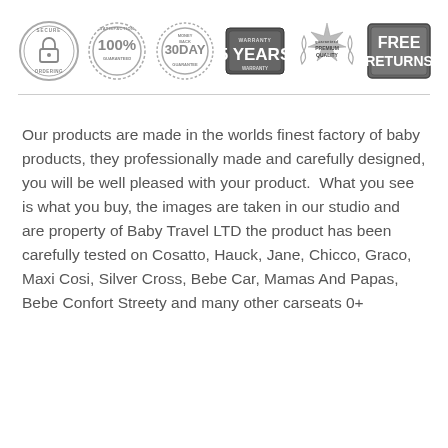[Figure (illustration): Row of six trust/guarantee badges: Secure Ordering (padlock circle), 100% Satisfaction Guaranteed (circular badge), 30 Day Money Back Guarantee (circular badge), 5 Years Warranty (shield/banner badge), Premium Quality (laurel wreath star badge), Free Returns (rectangular stamp badge)]
Our products are made in the worlds finest factory of baby products, they professionally made and carefully designed, you will be well pleased with your product.  What you see is what you buy, the images are taken in our studio and are property of Baby Travel LTD the product has been carefully tested on Cosatto, Hauck, Jane, Chicco, Graco, Maxi Cosi, Silver Cross, Bebe Car, Mamas And Papas, Bebe Confort Streety and many other carseats 0+